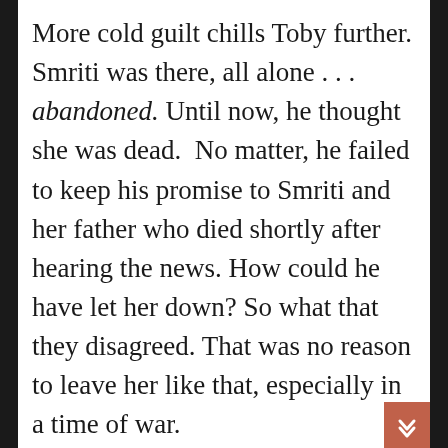More cold guilt chills Toby further. Smriti was there, all alone . . . abandoned. Until now, he thought she was dead.  No matter, he failed to keep his promise to Smriti and her father who died shortly after hearing the news. How could he have let her down? So what that they disagreed. That was no reason to leave her like that, especially in a time of war.
Even though SpaceCom and all the major governments kept everyone in the dark about this disastrous war, rumors flew like burning embers of Telrachnid attacks deep inside Earth's solar system even on the planet. Hell, how many